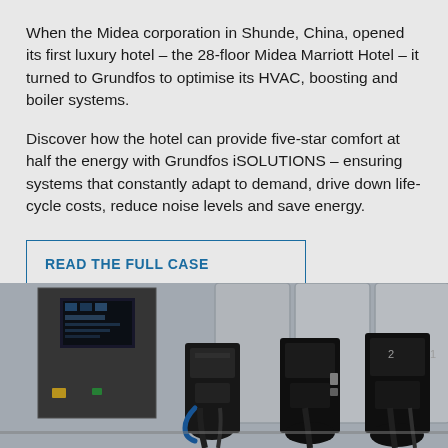When the Midea corporation in Shunde, China, opened its first luxury hotel – the 28-floor Midea Marriott Hotel – it turned to Grundfos to optimise its HVAC, boosting and boiler systems.
Discover how the hotel can provide five-star comfort at half the energy with Grundfos iSOLUTIONS – ensuring systems that constantly adapt to demand, drive down life-cycle costs, reduce noise levels and save energy.
READ THE FULL CASE
[Figure (photo): Industrial pump equipment photo showing pump units, control panel with display, large cylindrical tanks in background, in a mechanical room]